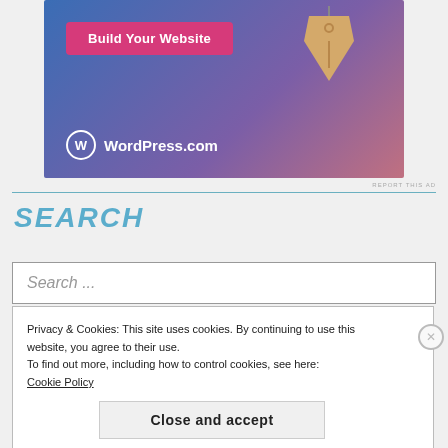[Figure (screenshot): WordPress.com advertisement banner with blue-purple gradient background, 'Build Your Website' pink button, a hanging price tag graphic, and WordPress.com logo with text]
REPORT THIS AD
SEARCH
Search ...
Privacy & Cookies: This site uses cookies. By continuing to use this website, you agree to their use.
To find out more, including how to control cookies, see here:
Cookie Policy
Close and accept